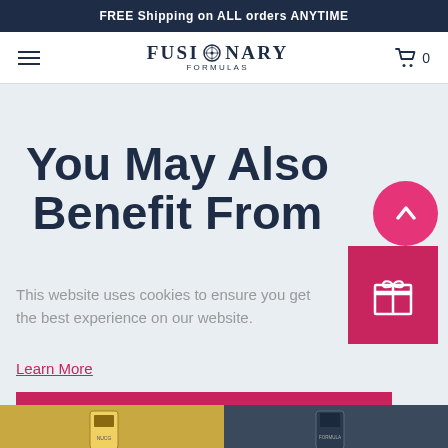FREE Shipping on ALL orders ANYTIME
[Figure (logo): Fusionary Formulas logo with compass icon, hamburger menu icon on left, shopping cart with 0 on right]
You May Also Benefit From
This website uses cookies to ensure you get the best experience on our website.
Learn More
GOT IT!
[Figure (photo): Two product thumbnail images at the bottom of the page]